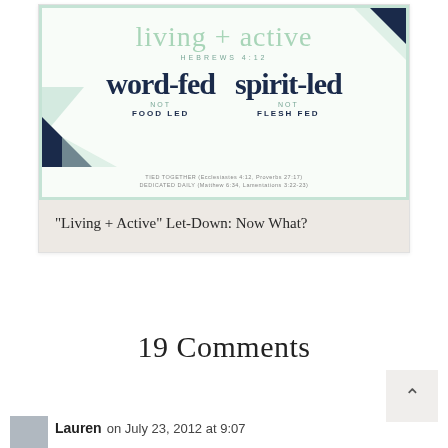[Figure (illustration): Blog post card thumbnail showing a Bible study graphic. White/mint background with decorative triangles. Title 'living + active' in mint cursive with 'HEBREWS 4:12' below. Two columns: 'word-fed NOT FOOD LED' and 'spirit-led NOT FLESH FED' in navy brush script. Footer text: 'TIED TOGETHER (Ecclesiastes 4:12, Proverbs 27:17)' and 'DEDICATED DAILY (Matthew 6:34, Lamentations 3:22-23)']
"Living + Active" Let-Down: Now What?
19 Comments
Lauren on July 23, 2012 at 9:07